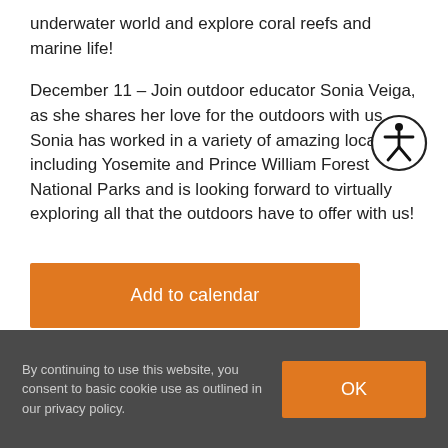underwater world and explore coral reefs and marine life!
December 11 – Join outdoor educator Sonia Veiga, as she shares her love for the outdoors with us. Sonia has worked in a variety of amazing locations including Yosemite and Prince William Forest National Parks and is looking forward to virtually exploring all that the outdoors have to offer with us!
[Figure (illustration): Accessibility icon — person in circle (wheelchair accessibility symbol variant)]
Add to calendar
By continuing to use this website, you consent to basic cookie use as outlined in our privacy policy.